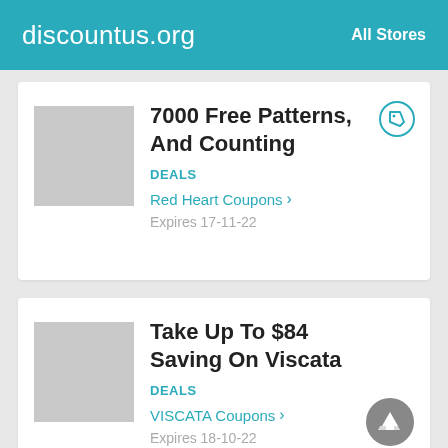discountus.org   All Stores
7000 Free Patterns, And Counting
DEALS
Red Heart Coupons >
Expires 17-11-22
Take Up To $84 Saving On Viscata
DEALS
VISCATA Coupons >
Expires 18-10-22